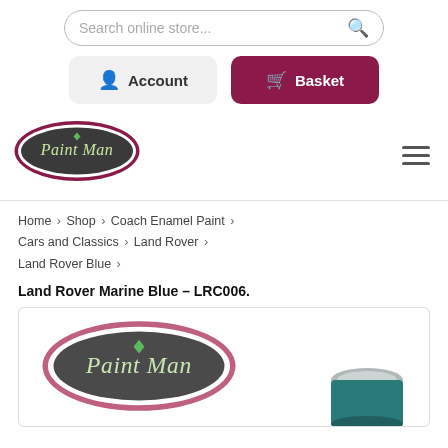Search online store...
Account
Basket
[Figure (logo): Paint Man logo — dark oval with pink/maroon border, green gem, cursive white/green text 'Paint Man']
Home › Shop › Coach Enamel Paint › Cars and Classics › Land Rover › Land Rover Blue ›
Land Rover Marine Blue – LRC006.
[Figure (photo): Paint Man product image showing the Paint Man logo on a paint tin lid, with a teal/dark blue paint tin visible at the bottom right]